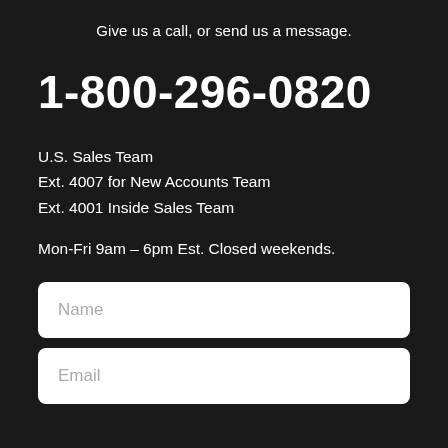Give us a call, or send us a message.
1-800-296-0820
U.S. Sales Team
Ext. 4007 for New Accounts Team
Ext. 4001 Inside Sales Team
Mon-Fri 9am – 6pm Est. Closed weekends.
Name
Email